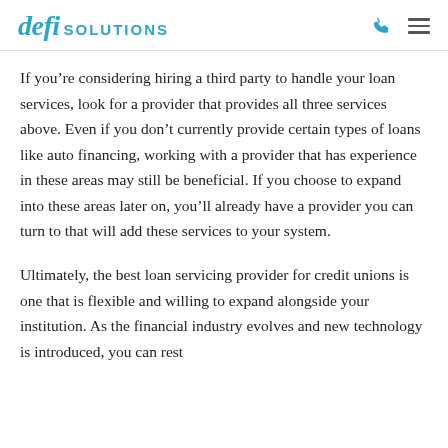defi SOLUTIONS
If you’re considering hiring a third party to handle your loan services, look for a provider that provides all three services above. Even if you don’t currently provide certain types of loans like auto financing, working with a provider that has experience in these areas may still be beneficial. If you choose to expand into these areas later on, you’ll already have a provider you can turn to that will add these services to your system.
Ultimately, the best loan servicing provider for credit unions is one that is flexible and willing to expand alongside your institution. As the financial industry evolves and new technology is introduced, you can rest